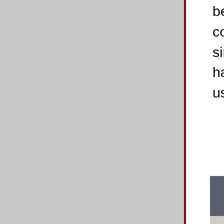be the case at all. I find the change to hear completely different voices from w... been a few years since I last watched... Kawasumi Ayako with Yukana has bee... like Yukana quite a bit. Madarame's ne... used to.
[Figure (photo): Anime screenshot showing a young male character with brown hair in the foreground looking to the side, with other characters including one with glasses and a green shirt visible in the background.]